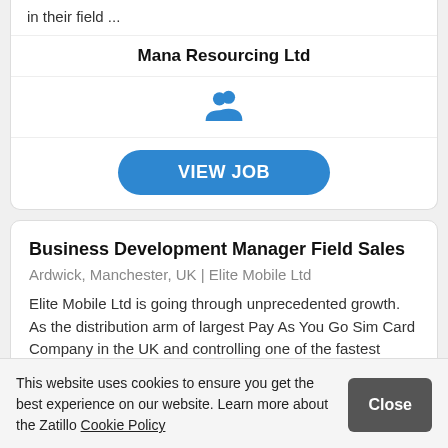in their field ...
Mana Resourcing Ltd
[Figure (illustration): Two people silhouette icon in blue]
VIEW JOB
Business Development Manager Field Sales
Ardwick, Manchester, UK | Elite Mobile Ltd
Elite Mobile Ltd is going through unprecedented growth. As the distribution arm of largest Pay As You Go Sim Card Company in the UK and controlling one of the fastest growing apps
This website uses cookies to ensure you get the best experience on our website. Learn more about the Zatillo Cookie Policy